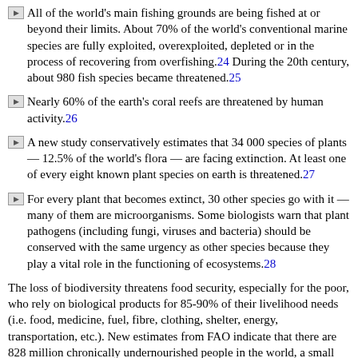All of the world's main fishing grounds are being fished at or beyond their limits. About 70% of the world's conventional marine species are fully exploited, overexploited, depleted or in the process of recovering from overfishing.[24] During the 20th century, about 980 fish species became threatened.[25]
Nearly 60% of the earth's coral reefs are threatened by human activity.[26]
A new study conservatively estimates that 34 000 species of plants — 12.5% of the world's flora — are facing extinction. At least one of every eight known plant species on earth is threatened.[27]
For every plant that becomes extinct, 30 other species go with it — many of them are microorganisms. Some biologists warn that plant pathogens (including fungi, viruses and bacteria) should be conserved with the same urgency as other species because they play a vital role in the functioning of ecosystems.[28]
The loss of biodiversity threatens food security, especially for the poor, who rely on biological products for 85-90% of their livelihood needs (i.e. food, medicine, fuel, fibre, clothing, shelter, energy, transportation, etc.). New estimates from FAO indicate that there are 828 million chronically undernourished people in the world, a small increase since the early 1990s.[29]